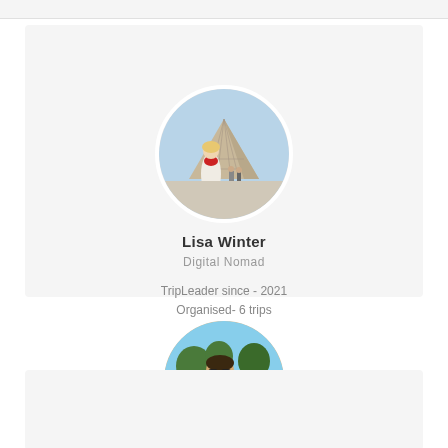[Figure (photo): Circular profile photo of Lisa Winter standing in front of the Louvre pyramid in Paris, wearing a white coat and red scarf]
Lisa Winter
Digital Nomad
TripLeader since - 2021
Organised- 6 trips
[Figure (photo): Circular profile photo of a person wearing sunglasses sitting at an outdoor restaurant table with food and drinks, outdoors in sunny weather]